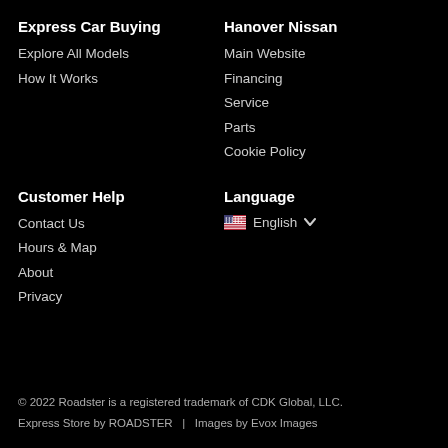Express Car Buying
Explore All Models
How It Works
Hanover Nissan
Main Website
Financing
Service
Parts
Cookie Policy
Customer Help
Contact Us
Hours & Map
About
Privacy
Language
English
© 2022 Roadster is a registered trademark of CDK Global, LLC.
Express Store by ROADSTER   |   Images by Evox Images